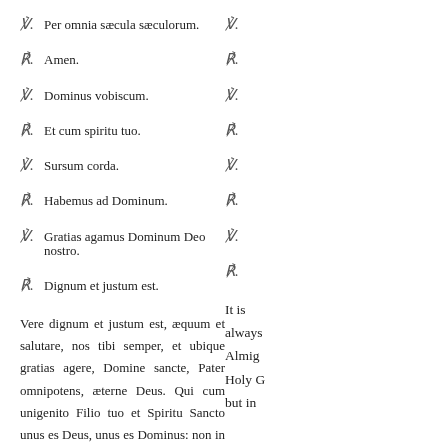V. Per omnia saecula saeculorum.
R. Amen.
V. Dominus vobiscum.
R. Et cum spiritu tuo.
V. Sursum corda.
R. Habemus ad Dominum.
V. Gratias agamus Dominum Deo nostro.
R. Dignum et justum est.
Vere dignum et justum est, aequum et salutare, nos tibi semper, et ubique gratias agere, Domine sancte, Pater omnipotens, aeterne Deus. Qui cum unigenito Filio tuo et Spiritu Sancto unus es Deus, unus es Dominus: non in unius singularitate Personae sed in unius Trinitate
It is always Almighty Holy C but in